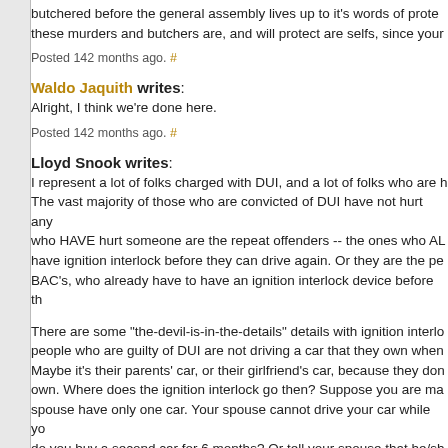butchered before the general assembly lives up to it's words of prote... these murders and butchers are, and will protect are selfs, since your...
Posted 142 months ago. #
Waldo Jaquith writes:
Alright, I think we're done here.
Posted 142 months ago. #
Lloyd Snook writes:
I represent a lot of folks charged with DUI, and a lot of folks who are h... The vast majority of those who are convicted of DUI have not hurt any... who HAVE hurt someone are the repeat offenders -- the ones who AL... have ignition interlock before they can drive again. Or they are the pe... BAC's, who already have to have an ignition interlock device before th...
There are some "the-devil-is-in-the-details" details with ignition interlo... people who are guilty of DUI are not driving a car that they own when... Maybe it's their parents' car, or their girlfriend's car, because they don... own. Where does the ignition interlock go then? Suppose you are ma... spouse have only one car. Your spouse cannot drive your car while yo... do you buy a second car for 6 months? Or tell your spouse that he/sh... 6 months? Some folks have a work vehicle as well as a personal vehi... IID's. This bill would add about $700 in costs per IID to someone who... offense DUI. That may not seem like a lot to folks who have computer... opportunity to comment on sites like this, but believe me -- it is a lot o... people who get DUI's. And one thing that is something of an unintend... way that the present law is worded -- you cannot get out of the requ...